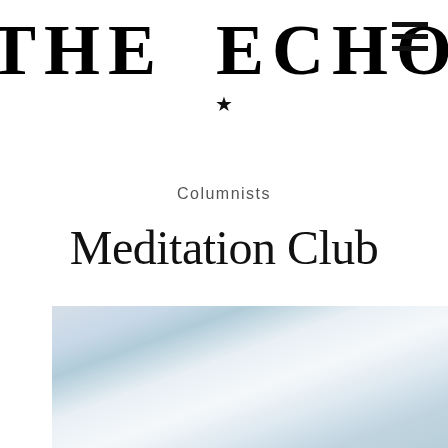THE ECHO ★
Columnists
Meditation Club
[Figure (photo): Blurred bokeh background photo, likely outdoors near water, with stacked stones visible at bottom center. Social media icons (chat bubble and thumbs up) overlaid on the right side.]